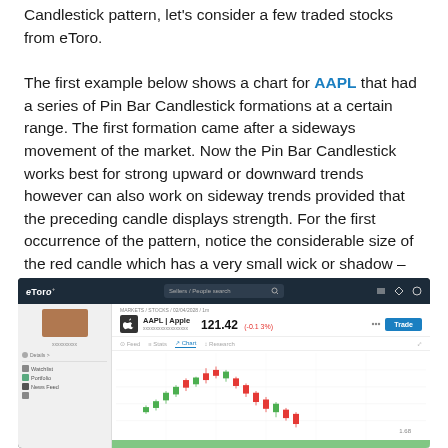Candlestick pattern, let's consider a few traded stocks from eToro.
The first example below shows a chart for AAPL that had a series of Pin Bar Candlestick formations at a certain range. The first formation came after a sideways movement of the market. Now the Pin Bar Candlestick works best for strong upward or downward trends however can also work on sideway trends provided that the preceding candle displays strength. For the first occurrence of the pattern, notice the considerable size of the red candle which has a very small wick or shadow – this displays the strength of the sellers.
[Figure (screenshot): eToro trading platform screenshot showing AAPL (Apple) stock chart at price 121.42 with a candlestick chart displaying a downward trend pattern including Pin Bar Candlestick formations]